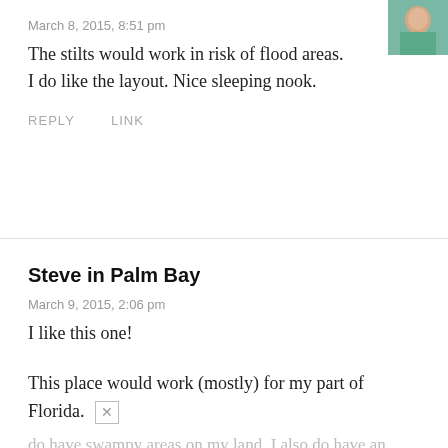[Figure (photo): Small avatar photo of a woman in a teal/turquoise top, partially visible in top right corner]
March 8, 2015, 8:51 pm
The stilts would work in risk of flood areas.
I do like the layout. Nice sleeping nook.
REPLY   LINK
Steve in Palm Bay
March 9, 2015, 2:06 pm
I like this one!
This place would work (mostly) for my part of Florida.
do have swampy areas on my land. I also do have an